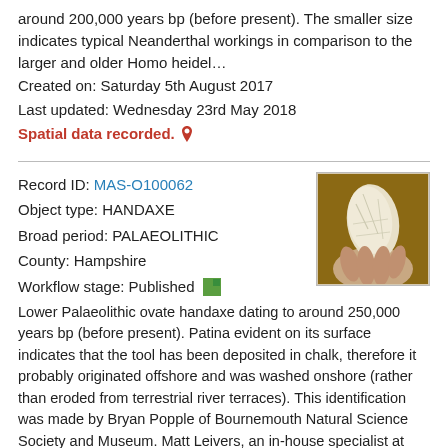around 200,000 years bp (before present). The smaller size indicates typical Neanderthal workings in comparison to the larger and older Homo heidel…
Created on: Saturday 5th August 2017
Last updated: Wednesday 23rd May 2018
Spatial data recorded. 📍
Record ID: MAS-O100062
Object type: HANDAXE
Broad period: PALAEOLITHIC
County: Hampshire
Workflow stage: Published
[Figure (photo): Photograph of a hand holding a pale/cream coloured flint handaxe artifact against a brown background]
Lower Palaeolithic ovate handaxe dating to around 250,000 years bp (before present). Patina evident on its surface indicates that the tool has been deposited in chalk, therefore it probably originated offshore and was washed onshore (rather than eroded from terrestrial river terraces). This identification was made by Bryan Popple of Bournemouth Natural Science Society and Museum. Matt Leivers, an in-house specialist at Wessex Archaeology believes it is a very rolled and abraded Lower Palaeolithic handaxe that has clearly been around on the seabed for a considerable period of time.
Created on: Friday 30th June 2017
Last updated: Wednesday 23rd May 2018